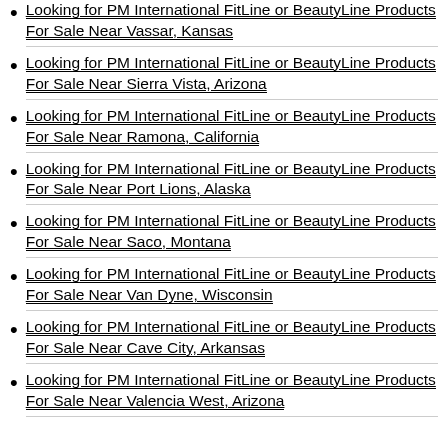Looking for PM International FitLine or BeautyLine Products For Sale Near Vassar, Kansas
Looking for PM International FitLine or BeautyLine Products For Sale Near Sierra Vista, Arizona
Looking for PM International FitLine or BeautyLine Products For Sale Near Ramona, California
Looking for PM International FitLine or BeautyLine Products For Sale Near Port Lions, Alaska
Looking for PM International FitLine or BeautyLine Products For Sale Near Saco, Montana
Looking for PM International FitLine or BeautyLine Products For Sale Near Van Dyne, Wisconsin
Looking for PM International FitLine or BeautyLine Products For Sale Near Cave City, Arkansas
Looking for PM International FitLine or BeautyLine Products For Sale Near Valencia West, Arizona